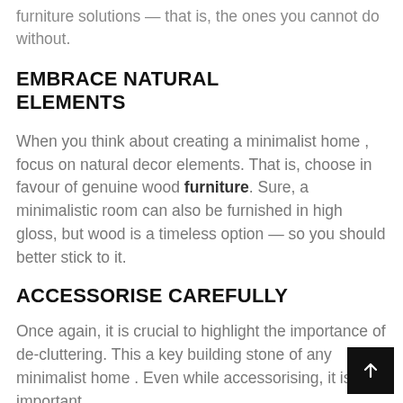furniture solutions — that is, the ones you cannot do without.
EMBRACE NATURAL ELEMENTS
When you think about creating a minimalist home , focus on natural decor elements. That is, choose in favour of genuine wood furniture. Sure, a minimalistic room can also be furnished in high gloss, but wood is a timeless option — so you should better stick to it.
ACCESSORISE CAREFULLY
Once again, it is crucial to highlight the importance of de-cluttering. This a key building stone of any minimalist home . Even while accessorising, it is important